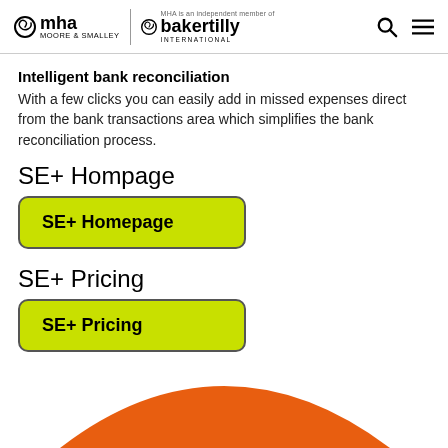mha MOORE & SMALLEY | bakertilly INTERNATIONAL
Intelligent bank reconciliation
With a few clicks you can easily add in missed expenses direct from the bank transactions area which simplifies the bank reconciliation process.
SE+ Hompage
[Figure (other): Green rounded rectangle button labeled 'SE+ Homepage']
SE+ Pricing
[Figure (other): Green rounded rectangle button labeled 'SE+ Pricing']
[Figure (illustration): Orange rounded trapezoidal shape at the bottom of the page]